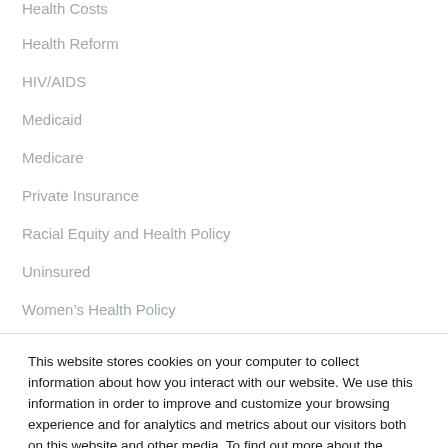Health Costs
Health Reform
HIV/AIDS
Medicaid
Medicare
Private Insurance
Racial Equity and Health Policy
Uninsured
Women's Health Policy
This website stores cookies on your computer to collect information about how you interact with our website. We use this information in order to improve and customize your browsing experience and for analytics and metrics about our visitors both on this website and other media. To find out more about the cookies we use, see our Privacy Policy.